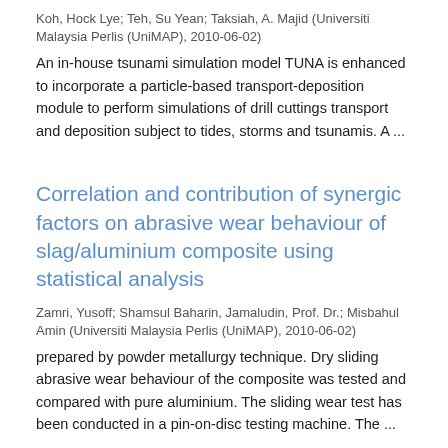Koh, Hock Lye; Teh, Su Yean; Taksiah, A. Majid (Universiti Malaysia Perlis (UniMAP), 2010-06-02)
An in-house tsunami simulation model TUNA is enhanced to incorporate a particle-based transport-deposition module to perform simulations of drill cuttings transport and deposition subject to tides, storms and tsunamis. A ...
Correlation and contribution of synergic factors on abrasive wear behaviour of slag/aluminium composite using statistical analysis
Zamri, Yusoff; Shamsul Baharin, Jamaludin, Prof. Dr.; Misbahul Amin (Universiti Malaysia Perlis (UniMAP), 2010-06-02)
prepared by powder metallurgy technique. Dry sliding abrasive wear behaviour of the composite was tested and compared with pure aluminium. The sliding wear test has been conducted in a pin-on-disc testing machine. The ...
← 1 . . . 12 →